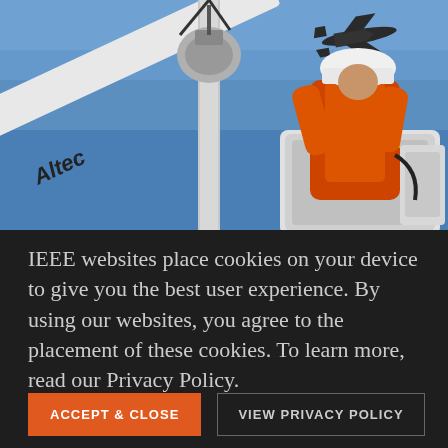[Figure (photo): Worker in orange safety vest and white hard hat in a bucket lift/cherry picker (Altec brand visible on boom) working on equipment atop a utility pole or street light. Blue sky background with an airplane visible in the upper right.]
IEEE websites place cookies on your device to give you the best user experience. By using our websites, you agree to the placement of these cookies. To learn more, read our Privacy Policy.
ACCEPT & CLOSE
VIEW PRIVACY POLICY